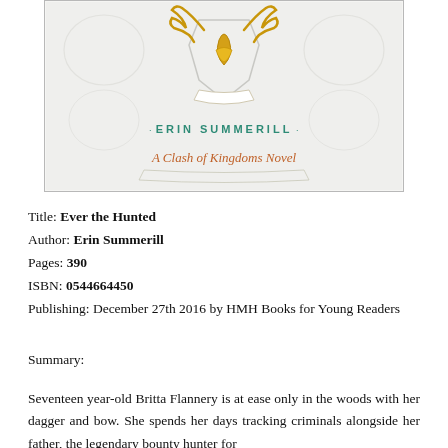[Figure (illustration): Book cover of 'Ever the Hunted' by Erin Summerill — shows a decorative crest with golden antlers and ornamental scrollwork on a white/silver background. The author name 'ERIN SUMMERILL' is shown in teal letters, and a cursive subtitle reads 'A Clash of Kingdoms Novel'.]
Title: Ever the Hunted
Author: Erin Summerill
Pages: 390
ISBN: 0544664450
Publishing: December 27th 2016 by HMH Books for Young Readers
Summary:
Seventeen year-old Britta Flannery is at ease only in the woods with her dagger and bow. She spends her days tracking criminals alongside her father, the legendary bounty hunter for